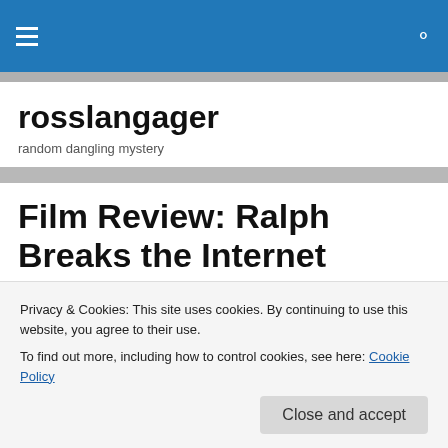rosslangager — random dangling mystery (navigation header with blue bar)
rosslangager
random dangling mystery
Film Review: Ralph Breaks the Internet
Ralph Breaks the Internet (2018…
Privacy & Cookies: This site uses cookies. By continuing to use this website, you agree to their use.
To find out more, including how to control cookies, see here: Cookie Policy
Close and accept